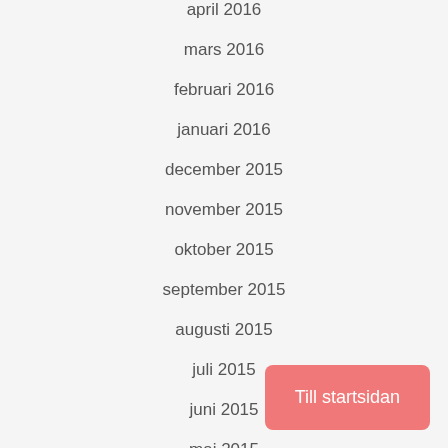april 2016
mars 2016
februari 2016
januari 2016
december 2015
november 2015
oktober 2015
september 2015
augusti 2015
juli 2015
juni 2015
maj 2015
april 2015
mars 2015
Till startsidan